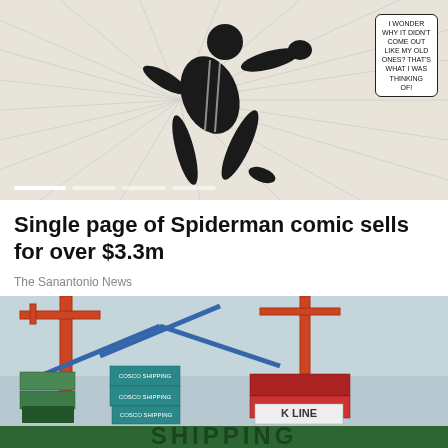[Figure (illustration): Black and white comic book illustration of a superhero figure (Spiderman) leaping, with speed lines radiating outward. A speech bubble in the top right reads: I WONDER WHY IT DIDN'T COME OUT LIKE MY OLD ONES? THAT'S WHAT I WAS THINKING OF!. Slide indicator dots are at the bottom.]
Single page of Spiderman comic sells for over $3.3m
The Sanantonio News
[Figure (photo): Photograph of a busy shipping port with large cranes and stacked colorful cargo containers from various shipping lines including K LINE and COSCO. The bottom shows partial text reading SHIPPING in large green letters.]